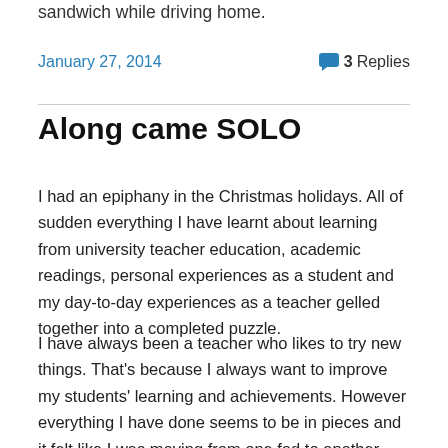sandwich while driving home.
January 27, 2014
3 Replies
Along came SOLO
I had an epiphany in the Christmas holidays. All of sudden everything I have learnt about learning from university teacher education, academic readings, personal experiences as a student and my day-to-day experiences as a teacher gelled together into a completed puzzle.
I have always been a teacher who likes to try new things. That's because I always want to improve my students' learning and achievements. However everything I have done seems to be in pieces and it felt like I was moving from one fad to another. The list below briefly lists all the